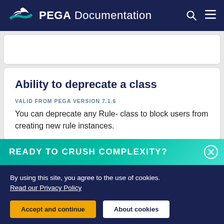PEGA Documentation
Ability to deprecate a class
VALID FROM PEGA VERSION 7.1.6
You can deprecate any Rule- class to block users from creating new rule instances.
READY TO CRUSH COMPLEXITY?
By using this site, you agree to the use of cookies. Read our Privacy Policy
Accept and continue
About cookies